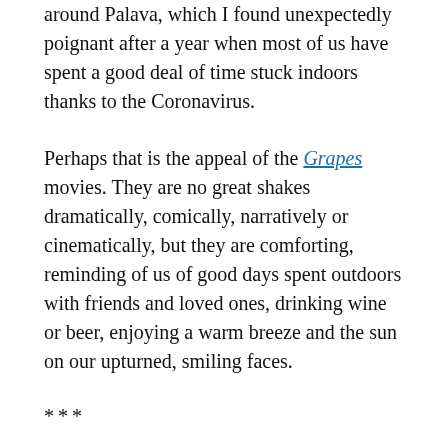around Palava, which I found unexpectedly poignant after a year when most of us have spent a good deal of time stuck indoors thanks to the Coronavirus.
Perhaps that is the appeal of the Grapes movies. They are no great shakes dramatically, comically, narratively or cinematically, but they are comforting, reminding of us of good days spent outdoors with friends and loved ones, drinking wine or beer, enjoying a warm breeze and the sun on our upturned, smiling faces.
***
This article was originally published by the France Daily Monitor